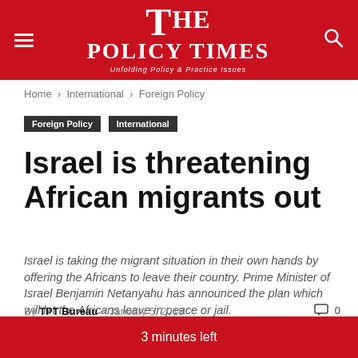THE POLICY TIMES — Unfolding Policy & Practice Issues
Home › International › Foreign Policy
Foreign Policy  International
Israel is threatening African migrants out
Israel is taking the migrant situation in their own hands by offering the Africans to leave their country. Prime Minister of Israel Benjamin Netanyahu has announced the plan which will let the Africans leave in peace or jail.
By TPT Bureau – January 5, 2018  💬 0
3 minutes left